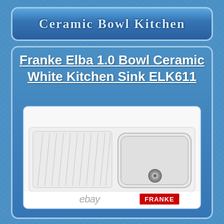Ceramic Bowl Kitchen
Franke Elba 1.0 Bowl Ceramic White Kitchen Sink ELK611
[Figure (photo): White ceramic kitchen sink with single bowl on right side and ribbed draining board on left. Shown from above at slight angle. eBay and Franke logos visible at bottom of image.]